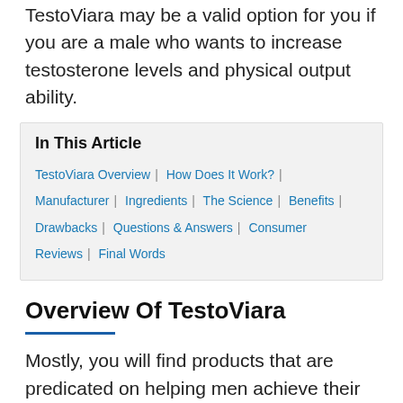TestoViara may be a valid option for you if you are a male who wants to increase testosterone levels and physical output ability.
In This Article
TestoViara Overview | How Does It Work? | Manufacturer | Ingredients | The Science | Benefits | Drawbacks | Questions & Answers | Consumer Reviews | Final Words
Overview Of TestoViara
Mostly, you will find products that are predicated on helping men achieve their sexual health goals. It helps with conditions like erectile dysfunction and low libido. But others focus more on testosterone production. This is the type of product we are